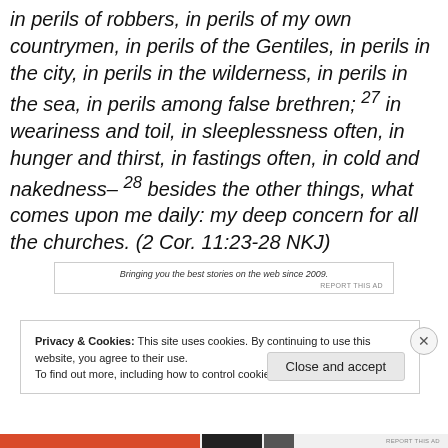in perils of robbers, in perils of my own countrymen, in perils of the Gentiles, in perils in the city, in perils in the wilderness, in perils in the sea, in perils among false brethren; 27 in weariness and toil, in sleeplessness often, in hunger and thirst, in fastings often, in cold and nakedness– 28 besides the other things, what comes upon me daily: my deep concern for all the churches. (2 Cor. 11:23-28 NKJ)
Bringing you the best stories on the web since 2009.
REPORT THIS AD
Privacy & Cookies: This site uses cookies. By continuing to use this website, you agree to their use.
To find out more, including how to control cookies, see here: Cookie Policy
Close and accept
REPORT THIS AD